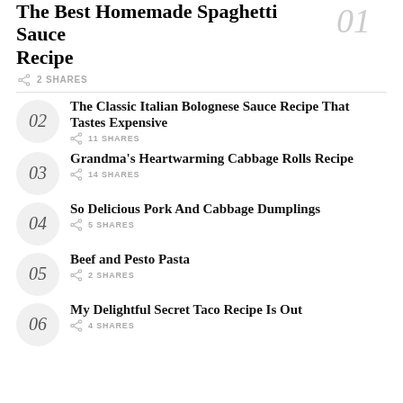The Best Homemade Spaghetti Sauce Recipe
2 SHARES
02 The Classic Italian Bolognese Sauce Recipe That Tastes Expensive – 11 SHARES
03 Grandma's Heartwarming Cabbage Rolls Recipe – 14 SHARES
04 So Delicious Pork And Cabbage Dumplings – 5 SHARES
05 Beef and Pesto Pasta – 2 SHARES
06 My Delightful Secret Taco Recipe Is Out – 4 SHARES